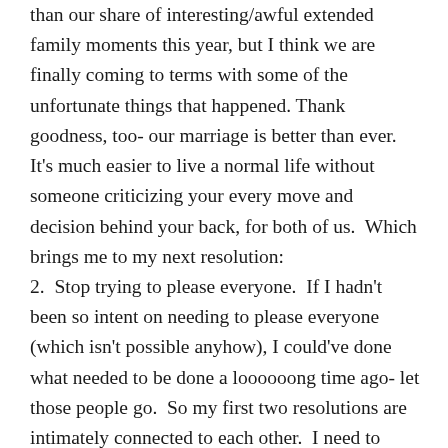than our share of interesting/awful extended family moments this year, but I think we are finally coming to terms with some of the unfortunate things that happened. Thank goodness, too- our marriage is better than ever.  It's much easier to live a normal life without someone criticizing your every move and decision behind your back, for both of us.  Which brings me to my next resolution:
2.  Stop trying to please everyone.  If I hadn't been so intent on needing to please everyone (which isn't possible anyhow), I could've done what needed to be done a loooooong time ago- let those people go.  So my first two resolutions are intimately connected to each other.  I need to respect that people may have the right to their own opinions (of me), even if I don't agree with them.  I don't need to fit into their ideals, either.  I just need to do what's best for my family and